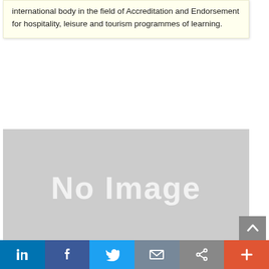international body in the field of Accreditation and Endorsement for hospitality, leisure and tourism programmes of learning.
[Figure (other): Grey placeholder box with 'No Image' text in large white letters]
Social sharing bar: LinkedIn, Facebook, Twitter, Email, Share, Plus